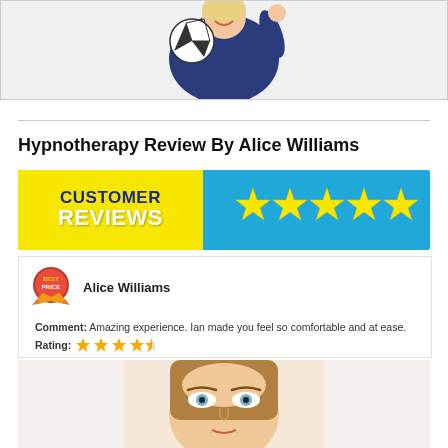[Figure (photo): Woman in navy blue shirt holding a soccer ball up near her head, smiling, white background]
Hypnotherapy Review By Alice Williams
[Figure (infographic): Customer Reviews banner with yellow left panel showing 'CUSTOMER REVIEWS' text and blue right panel showing 5 yellow stars]
[Figure (infographic): Review card showing Alice Williams with a badge icon, comment: 'Amazing experience. Ian made you feel so comfortable and at ease.' and a 4.5 star rating]
Comment: Amazing experience. Ian made you feel so comfortable and at ease.
Rating: ★★★★½
[Figure (photo): Close-up of a woman's face with straight brown hair and light eyes, looking upward]